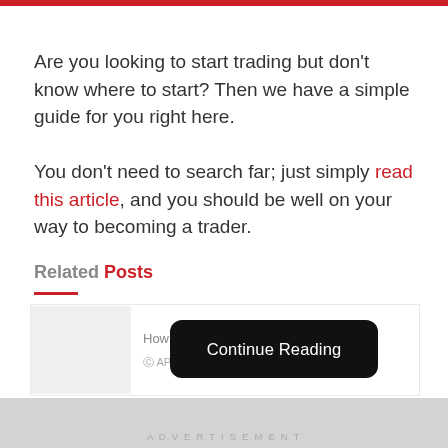Are you looking to start trading but don't know where to start? Then we have a simple guide for you right here.
You don't need to search far; just simply read this article, and you should be well on your way to becoming a trader.
Related Posts
How ... platform to sell
APRIL 9, 2022
ADVERTISEMENT